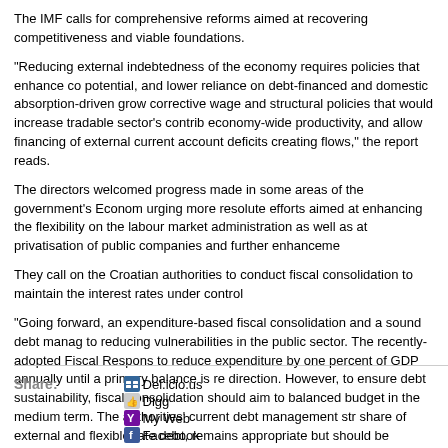The IMF calls for comprehensive reforms aimed at recovering competitiveness and viable foundations.
"Reducing external indebtedness of the economy requires policies that enhance co potential, and lower reliance on debt-financed and domestic absorption-driven grow corrective wage and structural policies that would increase tradable sector's contrib economy-wide productivity, and allow financing of external current account deficits creating flows," the report reads.
The directors welcomed progress made in some areas of the government's Econom urging more resolute efforts aimed at enhancing the flexibility on the labour market administration as well as at privatisation of public companies and further enhanceme
They call on the Croatian authorities to conduct fiscal consolidation to maintain the interest rates under control
"Going forward, an expenditure-based fiscal consolidation and a sound debt manag to reducing vulnerabilities in the public sector. The recently-adopted Fiscal Respons to reduce expenditure by one percent of GDP annually until a primary balance is re direction. However, to ensure debt sustainability, fiscal consolidation should aim to balanced budget in the medium term. The authorities' current debt management str share of external and flexible rate debt, remains appropriate but should be strength guaranteed debt. In addition, policies to increase domestic currency finance of publ reduce exchange rate related risks," reads the report.
Share: Del.icio.us Digg My Web Facebook